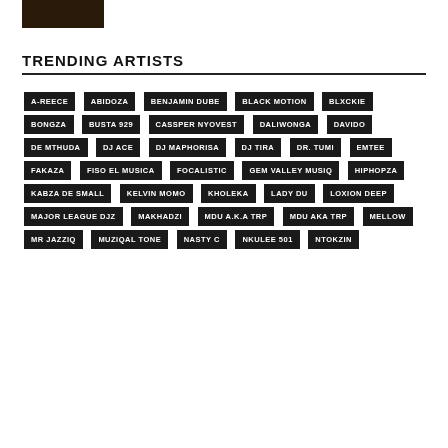[Figure (photo): Small dark thumbnail image in top left corner]
TRENDING ARTISTS
A-REECE
ABIDOZA
BENJAMIN DUBE
BLACK MOTION
BLXCKIE
BONGZA
BUSTA 929
CASSPER NYOVEST
DALIWONGA
DAVIDO
DE MTHUDA
DJ ACE
DJ MAPHORISA
DJ TIRA
DR. TUMI
EMTEE
FAKAZA
FISO EL MUSICA
FOCALISTIC
GEM VALLEY MUSIQ
HIPHOPZA
KABZA DE SMALL
KELVIN MOMO
KHOLEKA
LADY DU
LOXION DEEP
MAJOR LEAGUE DJZ
MAKHADZI
MDU A.K.A TRP
MDU AKA TRP
MELLOW
MR JAZZIQ
MUZIQAL TONE
NASTY C
NKULEE 501
NTOKZIN